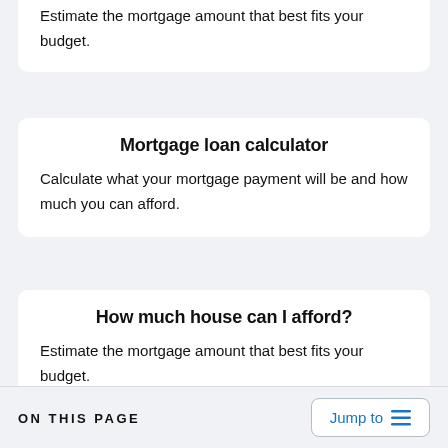Estimate the mortgage amount that best fits your budget.
Mortgage loan calculator
Calculate what your mortgage payment will be and how much you can afford.
How much house can I afford?
Estimate the mortgage amount that best fits your budget.
ON THIS PAGE   Jump to